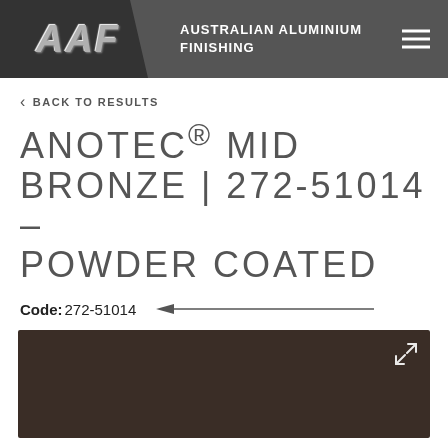AAF | AUSTRALIAN ALUMINIUM FINISHING
< BACK TO RESULTS
ANOTEC® MID BRONZE | 272-51014 - POWDER COATED
Code: 272-51014
[Figure (photo): Dark mid bronze powder coated colour swatch sample, approximately #3a2d26]